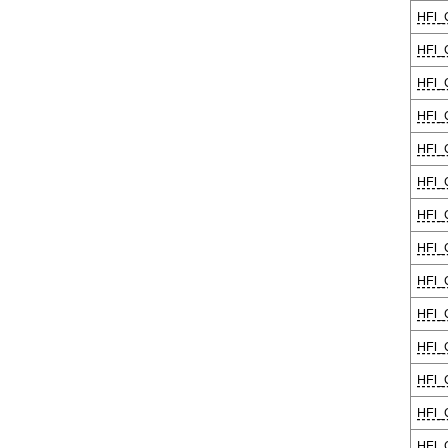| Filename |
| --- |
| HFI_CorrMap_100_dustleak-diff_204... |
| HFI_CorrMap_100_dustleak-ground_... |
| HFI_CorrMap_100_dustleak-ground_... |
| HFI_CorrMap_100-ds1-dustleak-diff_... |
| HFI_CorrMap_100-ds2-dustleak-diff_... |
| HFI_CorrMap_100-ds1-dustleak-grou... |
| HFI_CorrMap_100-ds2-dustleak-grou... |
| HFI_CorrMap_143-dustleak-diff_204... |
| HFI_CorrMap_143-dustleak-ground_... |
| HFI_CorrMap_143_dustleak-diff_204... |
| HFI_CorrMap_143_dustleak-diff_204... |
| HFI_CorrMap_143_dustleak-ground_... |
| HFI_CorrMap_143_dustleak-ground_... |
| HFI_CorrMap_143-ds1-dustleak-diff_... |
| HFI_CorrMap_143-ds2-dustleak-diff_... |
| HFI_CorrMap_143-ds1-dustleak-grou... |